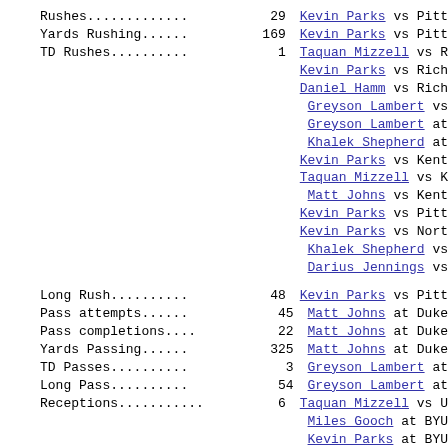| Stat | Value | Leader |
| --- | --- | --- |
| Rushes............. | 29 | Kevin Parks vs Pitt |
| Yards Rushing...... | 169 | Kevin Parks vs Pitt |
| TD Rushes.......... | 1 | Taquan Mizzell vs R / Kevin Parks vs Ric / Daniel Hamm vs Ric / Greyson Lambert vs / Greyson Lambert at / Khalek Shepherd at / Kevin Parks vs Kent / Taquan Mizzell vs K / Matt Johns vs Kent / Kevin Parks vs Pitt / Kevin Parks vs Nor / Khalek Shepherd vs / Darius Jennings vs |
| Long Rush.......... | 48 | Kevin Parks vs Pitt |
| Pass attempts...... | 45 | Matt Johns at Duke |
| Pass completions... | 22 | Matt Johns at Duke |
| Yards Passing...... | 325 | Matt Johns at Duke |
| TD Passes.......... | 3 | Greyson Lambert at |
| Long Pass.......... | 54 | Greyson Lambert at |
| Receptions......... | 6 | Taquan Mizzell vs U / Miles Gooch at BYU / Kevin Parks at BYU / Miles Gooch at Duke |
| Yards Receiving.... | 129 | Miles Gooch at Duke |
| TD Receptions...... | 2 | Canaan Severin vs R |
| Long Reception..... | 54 | Taquan Mizzell at Y |
| Field Goals........ | 4 | Ian Frye at BYU (Se |